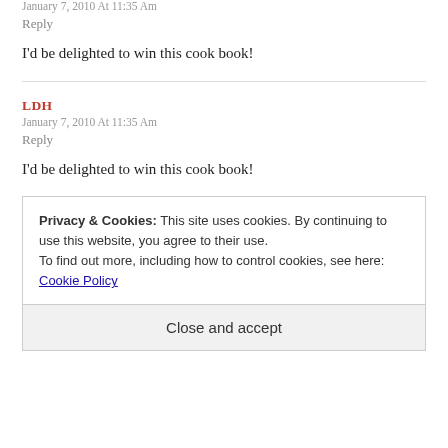January 7, 2010 At 11:35 Am
Reply
I'd be delighted to win this cook book!
LDH
January 7, 2010 At 11:35 Am
Reply
I'd be delighted to win this cook book!
Privacy & Cookies: This site uses cookies. By continuing to use this website, you agree to their use.
To find out more, including how to control cookies, see here: Cookie Policy
Close and accept